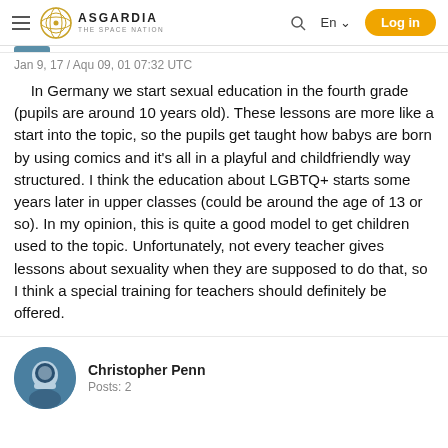ASGARDIA THE SPACE NATION — En — Log in
Jan 9, 17 / Aqu 09, 01 07:32 UTC
In Germany we start sexual education in the fourth grade (pupils are around 10 years old). These lessons are more like a start into the topic, so the pupils get taught how babys are born by using comics and it's all in a playful and childfriendly way structured. I think the education about LGBTQ+ starts some years later in upper classes (could be around the age of 13 or so). In my opinion, this is quite a good model to get children used to the topic. Unfortunately, not every teacher gives lessons about sexuality when they are supposed to do that, so I think a special training for teachers should definitely be offered.
Christopher Penn
Posts: 2